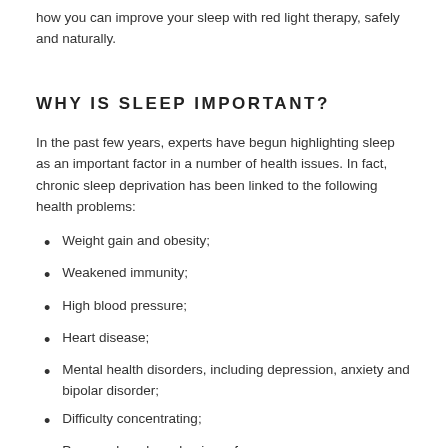how you can improve your sleep with red light therapy, safely and naturally.
WHY IS SLEEP IMPORTANT?
In the past few years, experts have begun highlighting sleep as an important factor in a number of health issues. In fact, chronic sleep deprivation has been linked to the following health problems:
Weight gain and obesity;
Weakened immunity;
High blood pressure;
Heart disease;
Mental health disorders, including depression, anxiety and bipolar disorder;
Difficulty concentrating;
Poor work and academic performance;